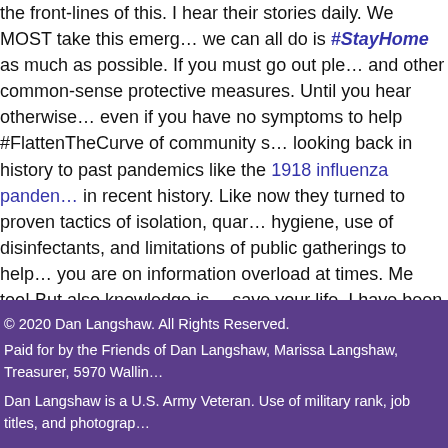the front-lines of this. I hear their stories daily. We MOST take this emerg... we can all do is #StayHome as much as possible. If you must go out ple... and other common-sense protective measures. Until you hear otherwise... even if you have no symptoms to help #FlattenTheCurve of community s... looking back in history to past pandemics like the 1918 influenza panden... in recent history. Like now they turned to proven tactics of isolation, quar... hygiene, use of disinfectants, and limitations of public gatherings to help... you are on information overload at times. Me too! But also knowledge is... save your life. I have been doing my best to keep up but things change c... forward I will keep updating helpful information as a one-stop place for N... 19 Updates that include various information from all levels of government... adding things that residents have requested more information on like wh...
Read More…
© 2020 Dan Langshaw. All Rights Reserved.
Paid for by the Friends of Dan Langshaw, Marissa Langshaw, Treasurer, 5970 Wallin...

Dan Langshaw is a U.S. Army Veteran. Use of military rank, job titles, and photograp...